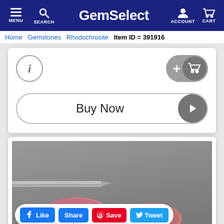GemSelect — MENU SEARCH ACCOUNT CART
Home > Gemstones > Rhodochrosite > Item ID = 391916
[Figure (screenshot): GemSelect product page UI with info button, add-to-cart button, and Buy Now button]
[Figure (photo): Two rhodochrosite gemstones held by tweezers against gray background]
Like  Share  Save  Tweet